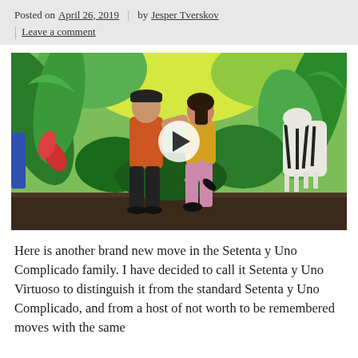Posted on April 26, 2019 | by Jesper Tverskov
| Leave a comment
[Figure (photo): Two dancers performing a Salsa move in front of a colorful tropical jungle mural with a painted zebra. One dancer in orange shirt and black pants, the other in yellow top and patterned leggings. A video play button overlay is centered on the image.]
Here is another brand new move in the Setenta y Uno Complicado family. I have decided to call it Setenta y Uno Virtuoso to distinguish it from the standard Setenta y Uno Complicado, and from a host of not worth to be remembered moves with the same